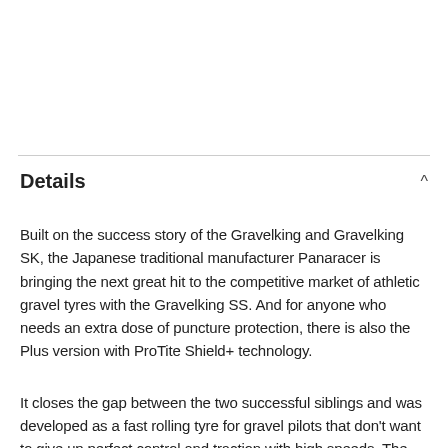Details
Built on the success story of the Gravelking and Gravelking SK, the Japanese traditional manufacturer Panaracer is bringing the next great hit to the competitive market of athletic gravel tyres with the Gravelking SS. And for anyone who needs an extra dose of puncture protection, there is also the Plus version with ProTite Shield+ technology.
It closes the gap between the two successful siblings and was developed as a fast rolling tyre for gravel pilots that don't want to give up perfect control and traction with high speeds. The newly developed profile pattern of the